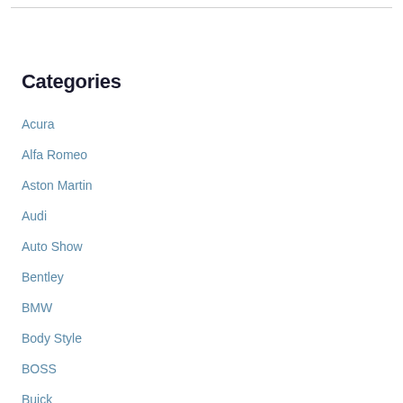Categories
Acura
Alfa Romeo
Aston Martin
Audi
Auto Show
Bentley
BMW
Body Style
BOSS
Buick